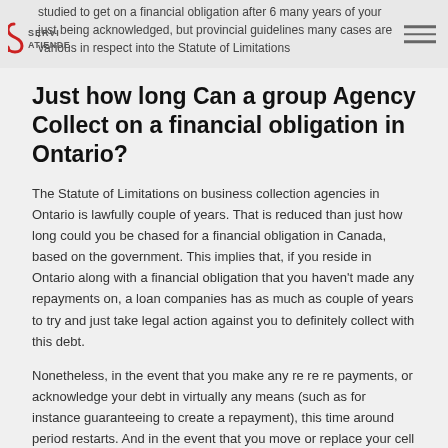SERVI ATIENDE logo
studied to get on a financial obligation after 6 many years of your just being acknowledged, but provincial guidelines many cases are various in respect into the Statute of Limitations
Just how long Can a group Agency Collect on a financial obligation in Ontario?
The Statute of Limitations on business collection agencies in Ontario is lawfully couple of years. That is reduced than just how long could you be chased for a financial obligation in Canada, based on the government. This implies that, if you reside in Ontario along with a financial obligation that you haven't made any repayments on, a loan companies has as much as couple of years to try and just take legal action against you to definitely collect with this debt.
Nonetheless, in the event that you make any re re re payments, or acknowledge your debt in virtually any means (such as for instance guaranteeing to create a repayment), this time around period restarts. And in the event that you move or replace your cell phone number plus don't notify the first creditor of these changes, you may want to extend the time scale a collector can